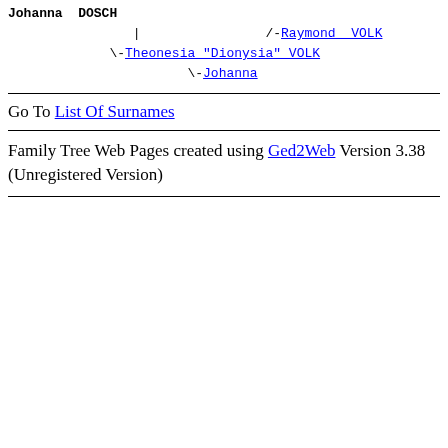Johanna DOSCH / /-Raymond VOLK \-Theonesia "Dionysia" VOLK \-Johanna
Go To List Of Surnames
Family Tree Web Pages created using Ged2Web Version 3.38 (Unregistered Version)